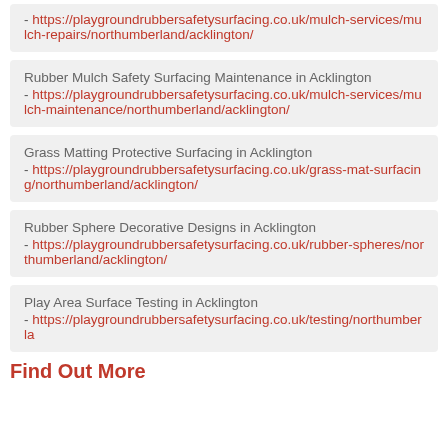- https://playgroundrubbersafetysurfacing.co.uk/mulch-services/mulch-repairs/northumberland/acklington/
Rubber Mulch Safety Surfacing Maintenance in Acklington - https://playgroundrubbersafetysurfacing.co.uk/mulch-services/mulch-maintenance/northumberland/acklington/
Grass Matting Protective Surfacing in Acklington - https://playgroundrubbersafetysurfacing.co.uk/grass-mat-surfacing/northumberland/acklington/
Rubber Sphere Decorative Designs in Acklington - https://playgroundrubbersafetysurfacing.co.uk/rubber-spheres/northumberland/acklington/
Play Area Surface Testing in Acklington - https://playgroundrubbersafetysurfacing.co.uk/testing/northumberland...
Find Out More